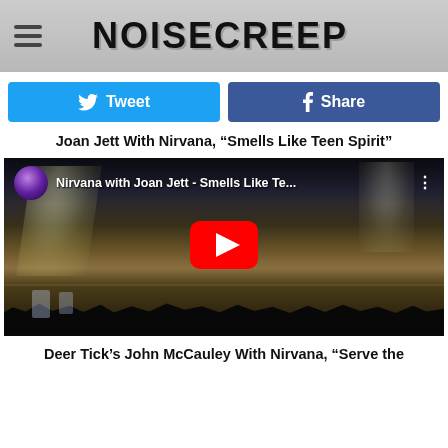NOISECREEP
Tweet
Share
Joan Jett With Nirvana, “Smells Like Teen Spirit”
[Figure (screenshot): YouTube video embed showing Nirvana with Joan Jett performing Smells Like Teen Spirit at a live concert. Video thumbnail shows concert stage with musicians and crowd in foreground. YouTube play button overlay visible in center.]
Deer Tick’s John McCauley With Nirvana, “Serve the